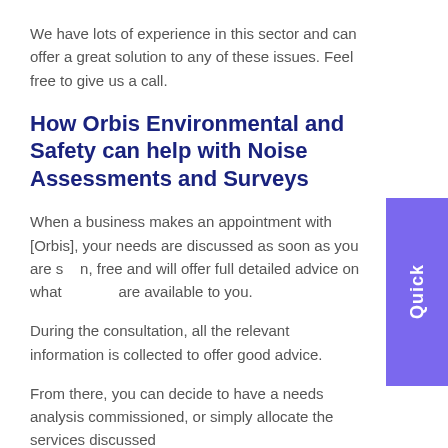We have lots of experience in this sector and can offer a great solution to any of these issues. Feel free to give us a call.
How Orbis Environmental and Safety can help with Noise Assessments and Surveys
When a business makes an appointment with [Orbis], your needs are discussed as soon as you are [seen]. [Our consultant is] free and will offer full detailed advice on what [options] are available to you.
During the consultation, all the relevant information is collected to offer good advice.
From there, you can decide to have a needs analysis commissioned, or simply allocate the services discussed